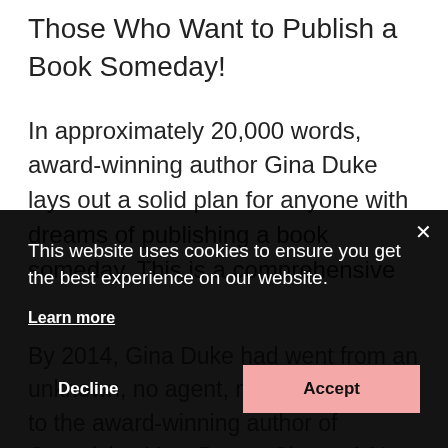Those Who Want to Publish a Book Someday!
In approximately 20,000 words, award-winning author Gina Duke lays out a solid plan for anyone with dreams of publishing a book someday. This is a comprehensive
This website uses cookies to ensure you get the best experience on our website.
Learn more
Decline
Accept
By 2014, Gina Duke had went from an unknown, no agent, no platform writer to the award-winning author of Organizing Your Prayer Closet: A New and Life-